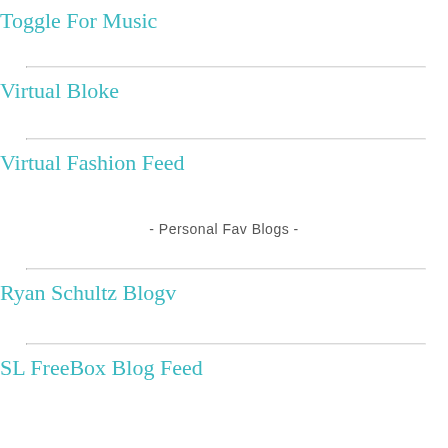Toggle For Music
Virtual Bloke
Virtual Fashion Feed
- Personal Fav Blogs -
Ryan Schultz Blogv
SL FreeBox Blog Feed